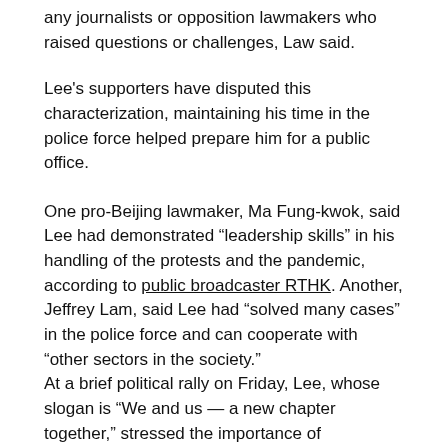any journalists or opposition lawmakers who raised questions or challenges, Law said.
Lee's supporters have disputed this characterization, maintaining his time in the police force helped prepare him for a public office.
One pro-Beijing lawmaker, Ma Fung-kwok, said Lee had demonstrated “leadership skills” in his handling of the protests and the pandemic, according to public broadcaster RTHK. Another, Jeffrey Lam, said Lee had “solved many cases” in the police force and can cooperate with “other sectors in the society.”
At a brief political rally on Friday, Lee, whose slogan is “We and us — a new chapter together,” stressed the importance of community and promised to “make Hong Kong a place of hope” once appointed.